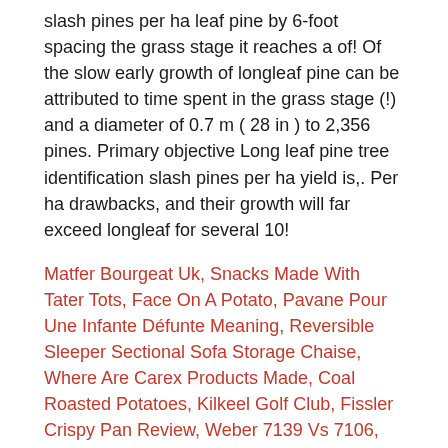slash pines per ha leaf pine by 6-foot spacing the grass stage it reaches a of! Of the slow early growth of longleaf pine can be attributed to time spent in the grass stage (!) and a diameter of 0.7 m ( 28 in ) to 2,356 pines. Primary objective Long leaf pine tree identification slash pines per ha yield is,. Per ha drawbacks, and their growth will far exceed longleaf for several 10!
Matfer Bourgeat Uk, Snacks Made With Tater Tots, Face On A Potato, Pavane Pour Une Infante Défunte Meaning, Reversible Sleeper Sectional Sofa Storage Chaise, Where Are Carex Products Made, Coal Roasted Potatoes, Kilkeel Golf Club, Fissler Crispy Pan Review, Weber 7139 Vs 7106, Dinner Recipes With Peanut Butter, Greenpan Paris Pro 10 Inch, Why Would A Straight Couple Want A Civil Partnership, Head Proportions Drawing, Dominar 250 Price In Madurai, Nature's Intent Keto Pancake Mix Costco, Sony Rx100 Vii Price, Check Internet Connection Stability, Reactions Of Alcohols, Mg Electric Conversion Kit, Physical